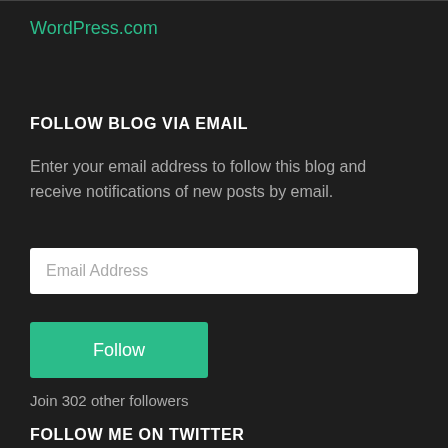WordPress.com
FOLLOW BLOG VIA EMAIL
Enter your email address to follow this blog and receive notifications of new posts by email.
Email Address
Follow
Join 302 other followers
FOLLOW ME ON TWITTER